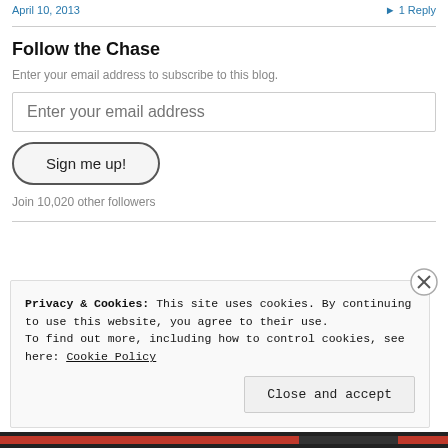April 10, 2013   ▶ 1 Reply
Follow the Chase
Enter your email address to subscribe to this blog.
Enter your email address
Sign me up!
Join 10,020 other followers
Privacy & Cookies: This site uses cookies. By continuing to use this website, you agree to their use.
To find out more, including how to control cookies, see here: Cookie Policy
Close and accept